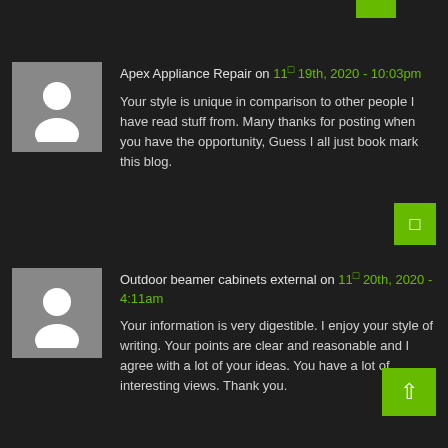Apex Appliance Repair on 11 19th, 2020 - 10:03pm
Your style is unique in comparison to other people I have read stuff from. Many thanks for posting when you have the opportunity, Guess I all just book mark this blog.
Outdoor beamer cabinets external on 11 20th, 2020 - 4:11am
Your information is very digestible. I enjoy your style of writing. Your points are clear and reasonable and I agree with a lot of your ideas. You have a lot of interesting views. Thank you.